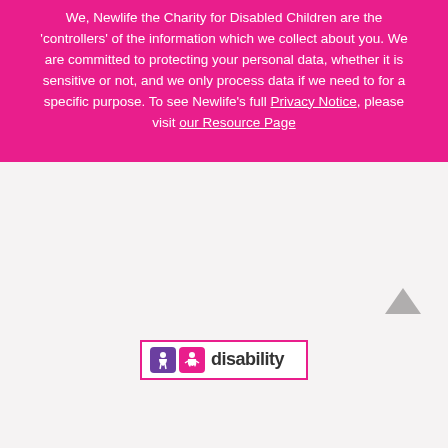We, Newlife the Charity for Disabled Children are the 'controllers' of the information which we collect about you. We are committed to protecting your personal data, whether it is sensitive or not, and we only process data if we need to for a specific purpose. To see Newlife's full Privacy Notice, please visit our Resource Page
[Figure (logo): Disability Confident logo with purple and pink icons beside the text 'disability' in a pink-bordered box]